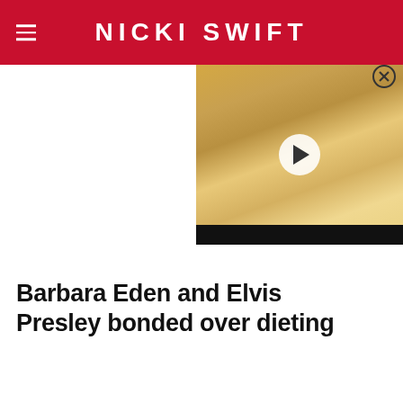NICKI SWIFT
[Figure (screenshot): Video thumbnail showing a child's face with a play button overlay and a dark bar at the bottom]
Barbara Eden and Elvis Presley bonded over dieting